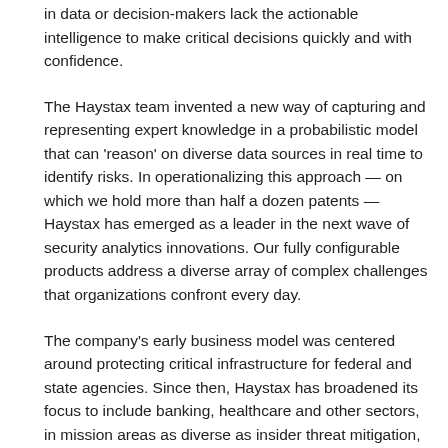in data or decision-makers lack the actionable intelligence to make critical decisions quickly and with confidence.
The Haystax team invented a new way of capturing and representing expert knowledge in a probabilistic model that can 'reason' on diverse data sources in real time to identify risks. In operationalizing this approach — on which we hold more than half a dozen patents — Haystax has emerged as a leader in the next wave of security analytics innovations. Our fully configurable products address a diverse array of complex challenges that organizations confront every day.
The company's early business model was centered around protecting critical infrastructure for federal and state agencies. Since then, Haystax has broadened its focus to include banking, healthcare and other sectors, in mission areas as diverse as insider threat mitigation, cyber fraud prevention, continuous evaluation of cleared personnel, terrorism threat assessments, critical infrastructure protection, incident management and situational awareness. As retired Joint Chiefs Chairman and former Haystax Advisory Board Chairman Gen. Peter Pace p… "Haystax's security analytics platform… scales to new challenges